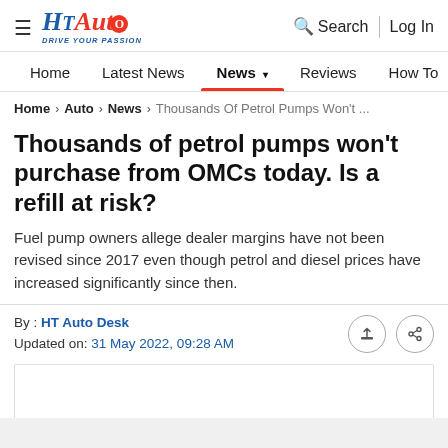HT Auto — Drive Your Passion | Search | Log In
Home | Latest News | News | Reviews | How To | Find Ve...
Home > Auto > News > Thousands Of Petrol Pumps Won't ...
Thousands of petrol pumps won't purchase from OMCs today. Is a refill at risk?
Fuel pump owners allege dealer margins have not been revised since 2017 even though petrol and diesel prices have increased significantly since then.
By : HT Auto Desk
Updated on: 31 May 2022, 09:28 AM